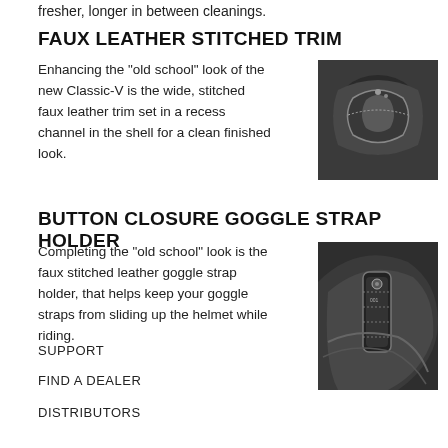fresher, longer in between cleanings.
FAUX LEATHER STITCHED TRIM
Enhancing the "old school" look of the new Classic-V is the wide, stitched faux leather trim set in a recess channel in the shell for a clean finished look.
[Figure (photo): Close-up photo of faux leather stitched trim on a helmet shell, showing wide stitching set in a recess channel. Black and white/grayscale image.]
BUTTON CLOSURE GOGGLE STRAP HOLDER
Completing the "old school" look is the faux stitched leather goggle strap holder, that helps keep your goggle straps from sliding up the helmet while riding.
[Figure (photo): Close-up photo of a button closure goggle strap holder on a helmet, showing the faux stitched leather piece on the side of a dark helmet. Black and white/grayscale image.]
SUPPORT
FIND A DEALER
DISTRIBUTORS